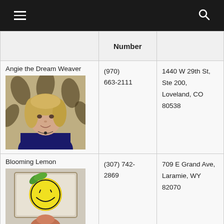Navigation bar with hamburger menu and search icon
|  | Number |  |
| --- | --- | --- |
| Angie the Dream Weaver [photo] | (970) 663-2111 | 1440 W 29th St, Ste 200, Loveland, CO 80538 |
| Blooming Lemon [photo] | (307) 742-2869 | 709 E Grand Ave, Laramie, WY 82070 |